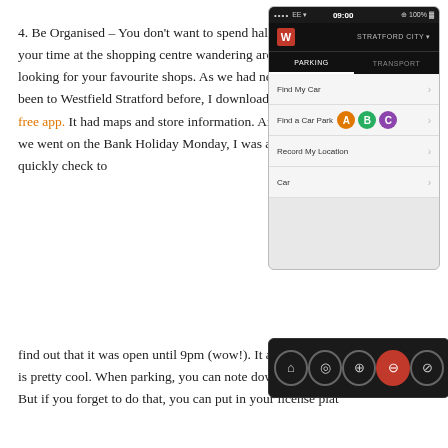4. Be Organised – You don't want to spend half of your time at the shopping centre wandering around looking for your favourite shops. As we had never been to Westfield Stratford before, I downloaded the free app. It had maps and store information. And as we went on the Bank Holiday Monday, I was able to quickly check to find out that it was open until 9pm (wow!). It also has a parking section that is pretty cool. When parking, you can note down where you have parked. But if you forget to do that, you can put in your license plat
[Figure (screenshot): Screenshot of Westfield app showing Parking screen with STRATFORD CITY header. Menu items: Find My Car, Find a Car Park (with A, B, C badges), Record My Location, Car.]
[Figure (screenshot): Screenshot of Westfield app toolbar at the bottom showing home, location, search, parking (active/red), and navigate icons.]